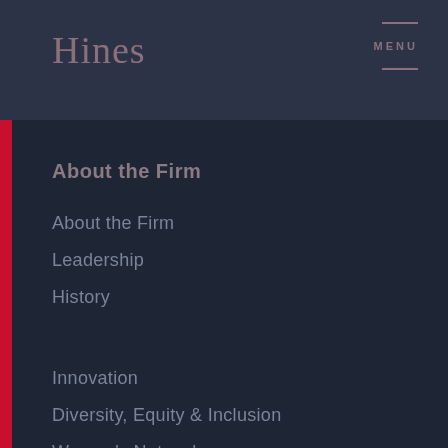Hines
About the Firm
About the Firm
Leadership
History
Innovation
Diversity, Equity & Inclusion
Women's Network
Regions